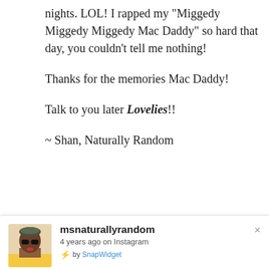nights. LOL! I rapped my "Miggedy Miggedy Miggedy Mac Daddy" so hard that day, you couldn't tell me nothing!

Thanks for the memories Mac Daddy!

Talk to you later Lovelies!!

~ Shan, Naturally Random
[Figure (screenshot): SnapWidget Instagram embed showing msnaturallyrandom profile photo (woman with sunglasses, head wrap, yellow top), username 'msnaturallyrandom', '4 years ago on Instagram', '⚡ by SnapWidget', with close button X]